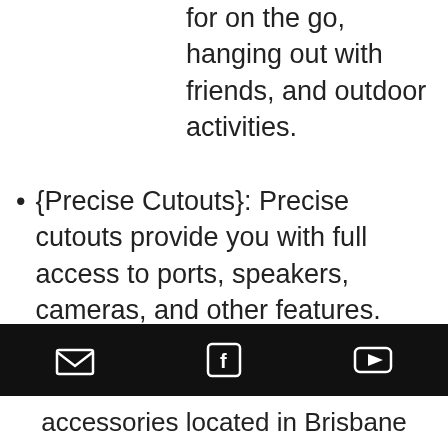for on the go, hanging out with friends, and outdoor activities.
{Precise Cutouts}: Precise cutouts provide you with full access to ports, speakers, cameras, and other features. Sensitive button covers allow responsive presses. including 4-side protection, covered corners, and a raised edge to protect the screen for your iPhone.
ABOUT US
[Figure (other): Black footer bar with email, Facebook, and YouTube icons]
accessories located in Brisbane